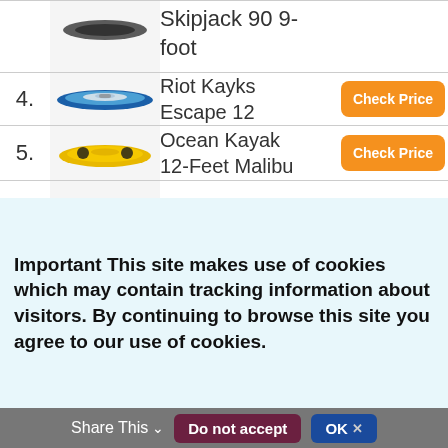| # | Image | Name | Action |
| --- | --- | --- | --- |
|  |  | Skipjack 90 9-foot |  |
| 4. | [kayak image] | Riot Kayks Escape 12 | Check Price |
| 5. | [kayak image] | Ocean Kayak 12-Feet Malibu | Check Price |
| 6. | [kayak image] | Ocean Kayak |  |
Important This site makes use of cookies which may contain tracking information about visitors. By continuing to browse this site you agree to our use of cookies.
Share This  Do not accept  OK